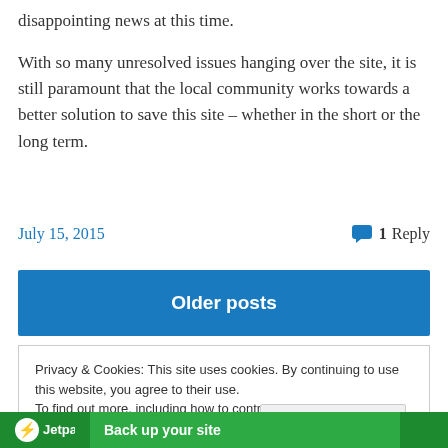disappointing news at this time.
With so many unresolved issues hanging over the site, it is still paramount that the local community works towards a better solution to save this site – whether in the short or the long term.
July 15, 2015
1 Reply
Older posts
Privacy & Cookies: This site uses cookies. By continuing to use this website, you agree to their use.
To find out more, including how to control cookies, see here: Cookie Policy
Close and accept
Jetpack  Back up your site